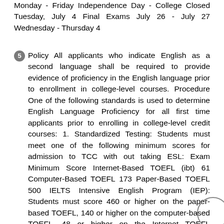Monday - Friday Independence Day - College Closed Tuesday, July 4 Final Exams July 26 - July 27 Wednesday - Thursday 4
5 Policy All applicants who indicate English as a second language shall be required to provide evidence of proficiency in the English language prior to enrollment in college-level courses. Procedure One of the following standards is used to determine English Language Proficiency for all first time applicants prior to enrolling in college-level credit courses: 1. Standardized Testing: Students must meet one of the following minimum scores for admission to TCC with out taking ESL: Exam Minimum Score Internet-Based TOEFL (ibt) 61 Computer-Based TOEFL 173 Paper-Based TOEFL 500 IELTS Intensive English Program (IEP): Students must score 460 or higher on the paper-based TOEFL, 140 or higher on the computer-based TOEFL, 48 or higher on the Internet TOEFL administered at a Special Testing Center or an International Testing Center, or 5.0 or higher on the IELTS examination prior to beginning the IEP. After achieving an acceptable score, students must successfully complete a